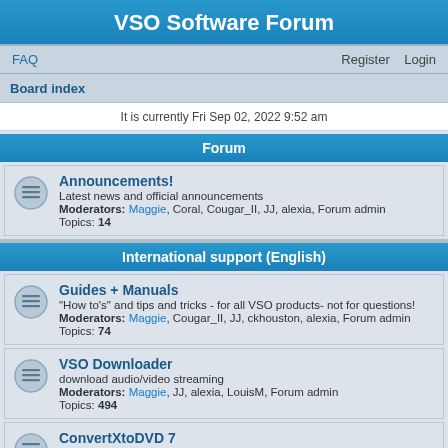VSO Software Forum
FAQ    Register    Login
Board index
It is currently Fri Sep 02, 2022 9:52 am
Forum
Announcements!
Latest news and official announcements
Moderators: Maggie, Coral, Cougar_II, JJ, alexia, Forum admin
Topics: 14
International support (English)
Guides + Manuals
"How to's" and tips and tricks - for all VSO products- not for questions!
Moderators: Maggie, Cougar_II, JJ, ckhouston, alexia, Forum admin
Topics: 74
VSO Downloader
download audio/video streaming
Moderators: Maggie, JJ, alexia, LouisM, Forum admin
Topics: 494
ConvertXtoDVD 7
Convert any type of file to DVD and burn to play on any type of DVD player. Create customized menus. Special menu template creator included
Moderators: Maggie, JJ, ckhouston, Phil, alexia, Forum admin